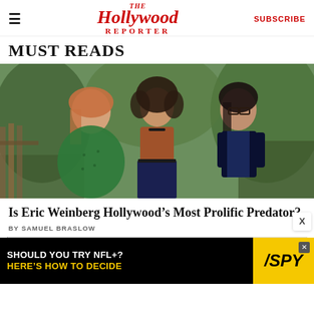The Hollywood Reporter | SUBSCRIBE
MUST READS
[Figure (photo): Three women standing outdoors in front of greenery and a wooden fence. Left: woman in green floral dress with red hair. Center: woman in rust/brown top and dark skirt with curly dark hair and choker. Right: woman in navy top and black blazer with dark hair and glasses.]
Is Eric Weinberg Hollywood’s Most Prolific Predator?
BY SAMUEL BRASLOW
[Figure (infographic): Advertisement banner: 'SHOULD YOU TRY NFL+? HERE'S HOW TO DECIDE' with SPY logo on yellow background.]